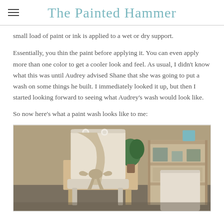The Painted Hammer
small load of paint or ink is applied to a wet or dry support.
Essentially, you thin the paint before applying it. You can even apply more than one color to get a cooler look and feel. As usual, I didn't know what this was until Audrey advised Shane that she was going to put a wash on some things he built. I immediately looked it up, but then I started looking forward to seeing what Audrey's wash would look like.
So now here's what a paint wash looks like to me:
[Figure (photo): Photo of wooden furniture items including a chair with a burlap bow/sash draped over it, wooden bench, and a wooden shelving unit in the background. Items appear to have a paint wash applied to them.]